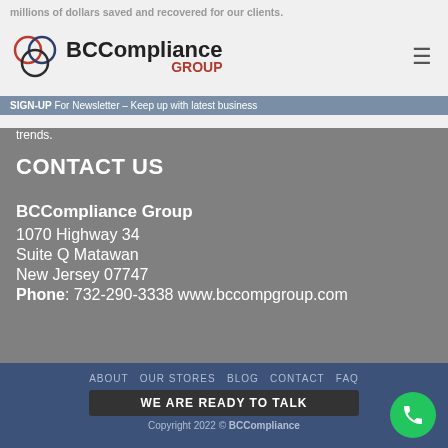millions of dollars saved and recovered for our clients.
[Figure (logo): BCCompliance Group logo with interlocking rings in red, blue and black]
SIGN-UP For Newsletter – Keep up with latest business trends.
CONTACT US
BCCompliance Group
1070 Highway 34
Suite Q Matawan
New Jersey 07747
Phone: 732-290-3338 www.bccompgroup.com
ABOUT  OUR STORES  BLOG  CONTACT  FAQ
WE ARE READY TO TALK
Copyright 2022 © BCCompliance